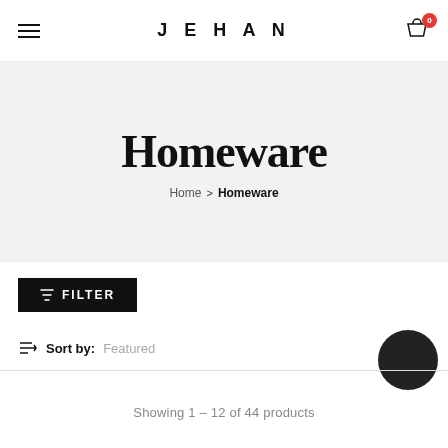JEHAN
Homeware
Home > Homeware
FILTER
Sort by: Featured
Showing 1 - 12 of 44 products